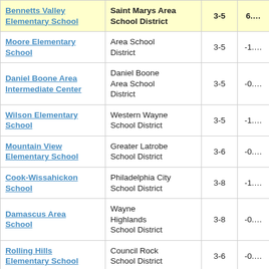| School | District | Grades | Score |
| --- | --- | --- | --- |
| Bennetts Valley Elementary School | Saint Marys Area School District | 3-5 | 6.… |
| Moore Elementary School | Area School District | 3-5 | -1.… |
| Daniel Boone Area Intermediate Center | Daniel Boone Area School District | 3-5 | -0.… |
| Wilson Elementary School | Western Wayne School District | 3-5 | -1.… |
| Mountain View Elementary School | Greater Latrobe School District | 3-6 | -0.… |
| Cook-Wissahickon School | Philadelphia City School District | 3-8 | -1.… |
| Damascus Area School | Wayne Highlands School District | 3-8 | -0.… |
| Rolling Hills Elementary School | Council Rock School District | 3-6 | -0.… |